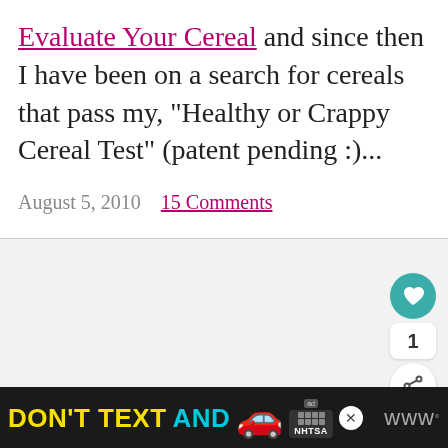Evaluate Your Cereal and since then I have been on a search for cereals that pass my, "Healthy or Crappy Cereal Test" (patent pending :)...
August 5, 2010  15 Comments
[Figure (screenshot): Blank gray image placeholder area with navigation dots at bottom and social interaction buttons (heart, count 1, share) on the right side]
[Figure (infographic): Advertisement banner: DON'T TEXT AND [car emoji] with ad badge and NHTSA logo on black background, followed by wordmark]